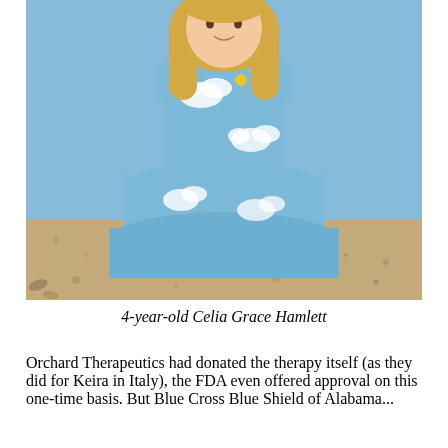[Figure (photo): A young blonde girl wearing a light blue dress with cloud and sunshine pattern, standing outdoors on a gravel/mulch surface.]
4-year-old Celia Grace Hamlett
Orchard Therapeutics had donated the therapy itself (as they did for Keira in Italy), the FDA even offered approval on this one-time basis. But Blue Cross Blue Shield of Alabama...